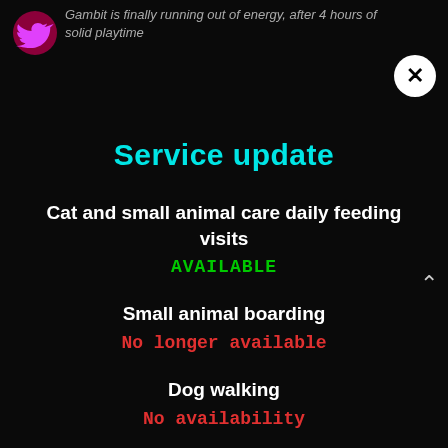Gambit is finally running out of energy, after 4 hours of solid playtime
Service update
Cat and small animal care daily feeding visits
AVAILABLE
Small animal boarding
No longer available
Dog walking
No availability
This
We'll
assu
wish.
Accept   Read More